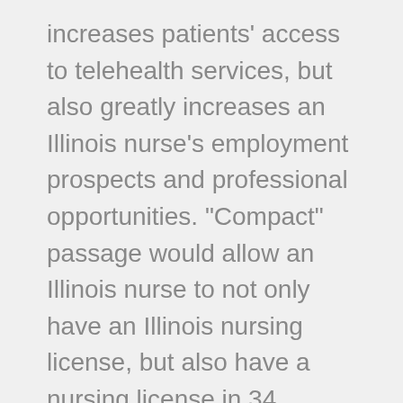increases patients' access to telehealth services, but also greatly increases an Illinois nurse's employment prospects and professional opportunities. "Compact" passage would allow an Illinois nurse to not only have an Illinois nursing license, but also have a nursing license in 34 "compact" states. Illinois nurses possessing multistate licenses makes them much more attractive to companies hiring nurses to perform telehealth services across the country. The "compact" also allows nurses to better respond to public health emergencies, including disaster relief assistance. Additionally, the majority of Illinois nurses are age 55 and older and many have a disability